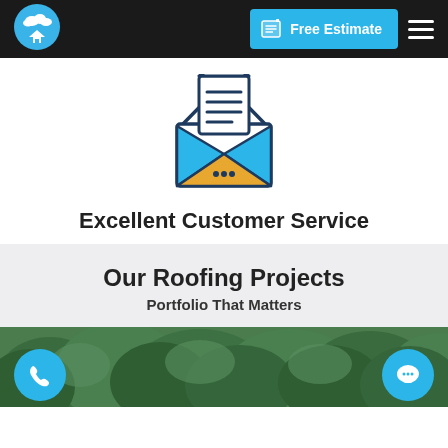[Figure (logo): Roofing company logo: circular blue icon with house and clouds, in black navigation bar. Free Estimate button in cyan and hamburger menu on right.]
[Figure (illustration): Open envelope icon with a letter/document coming out, blue and gold/yellow colors, dark navy outline style]
Excellent Customer Service
Our Roofing Projects
Portfolio That Matters
[Figure (photo): Aerial/overhead photo of green tree canopy / rooftop surrounded by lush trees, partially visible at bottom of page]